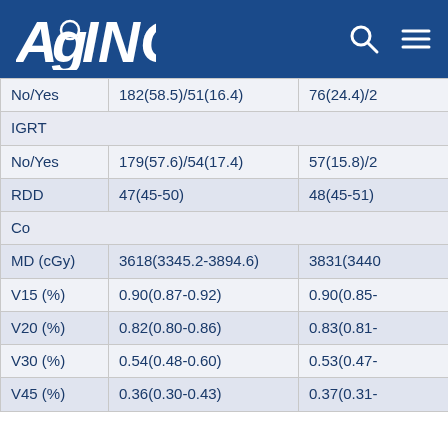AGING
|  | Col2 | Col3 |
| --- | --- | --- |
| No/Yes | 182(58.5)/51(16.4) | 76(24.4)/2 |
| IGRT |  |  |
| No/Yes | 179(57.6)/54(17.4) | 57(15.8)/2 |
| RDD | 47(45-50) | 48(45-51) |
| Co |  |  |
| MD (cGy) | 3618(3345.2-3894.6) | 3831(3440 |
| V15 (%) | 0.90(0.87-0.92) | 0.90(0.85- |
| V20 (%) | 0.82(0.80-0.86) | 0.83(0.81- |
| V30 (%) | 0.54(0.48-0.60) | 0.53(0.47- |
| V45 (%) | 0.36(0.30-0.43) | 0.37(0.31- |